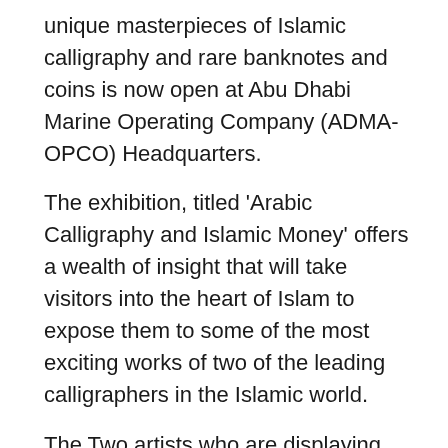unique masterpieces of Islamic calligraphy and rare banknotes and coins is now open at Abu Dhabi Marine Operating Company (ADMA-OPCO) Headquarters.
The exhibition, titled 'Arabic Calligraphy and Islamic Money' offers a wealth of insight that will take visitors into the heart of Islam to expose them to some of the most exciting works of two of the leading calligraphers in the Islamic world.
The Two artists who are displaying their works are Mr. Mohamed Mandi from UAE and Mr. Khalifa El Shemi from Egypt, specailise in the integration of Arabic letter into their paintings using their unique talents in a variety of creative ways. Mr. Mandi and Mr. El Shemi have distinguished